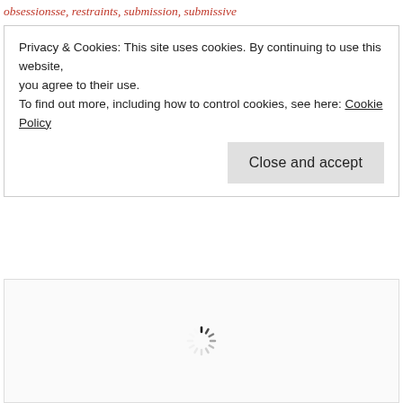obsessionsse, restraints, submission, submissive
Privacy & Cookies: This site uses cookies. By continuing to use this website, you agree to their use.
To find out more, including how to control cookies, see here: Cookie Policy
Close and accept
[Figure (other): Loading spinner animation placeholder in a white content area]